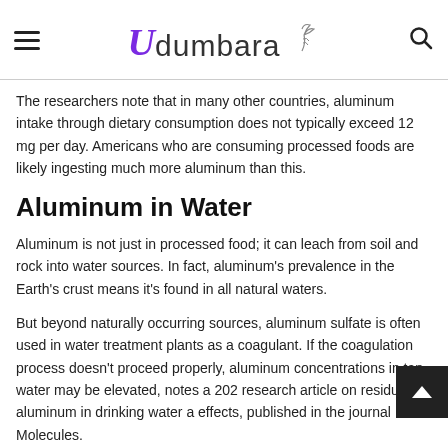Udumbara
The researchers note that in many other countries, aluminum intake through dietary consumption does not typically exceed 12 mg per day. Americans who are consuming processed foods are likely ingesting much more aluminum than this.
Aluminum in Water
Aluminum is not just in processed food; it can leach from soil and rock into water sources. In fact, aluminum's prevalence in the Earth's crust means it's found in all natural waters.
But beyond naturally occurring sources, aluminum sulfate is often used in water treatment plants as a coagulant. If the coagulation process doesn't proceed properly, aluminum concentrations in tap water may be elevated, notes a 202 research article on residual aluminum in drinking water a effects, published in the journal Molecules.